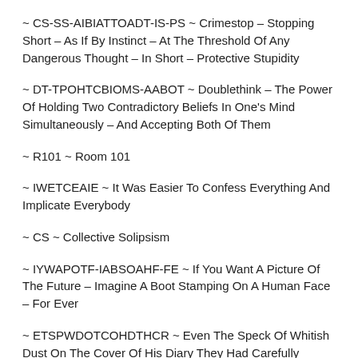~ CS-SS-AIBIATTOADT-IS-PS ~ Crimestop – Stopping Short – As If By Instinct – At The Threshold Of Any Dangerous Thought – In Short – Protective Stupidity
~ DT-TPOHTCBIOMS-AABOT ~ Doublethink – The Power Of Holding Two Contradictory Beliefs In One's Mind Simultaneously – And Accepting Both Of Them
~ R101 ~ Room 101
~ IWETCEAIE ~ It Was Easier To Confess Everything And Implicate Everybody
~ CS ~ Collective Solipsism
~ IYWAPOTF-IABSOAHF-FE ~ If You Want A Picture Of The Future – Imagine A Boot Stamping On A Human Face – For Ever
~ ETSPWDOTCOHDTHCR ~ Even The Speck Of Whitish Dust On The Cover Of His Diary They Had Carefully Replaced